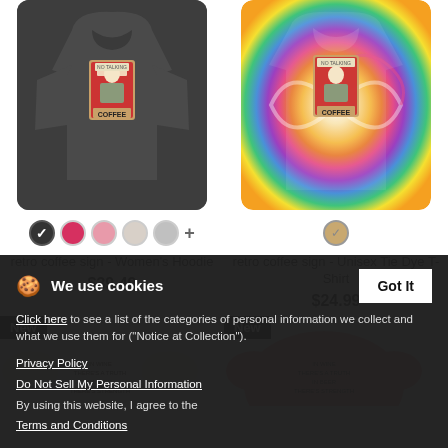[Figure (photo): Dark grey women's hoodie with retro coffee sign graphic on front]
[Figure (photo): Tie-dye unisex t-shirt with retro coffee sign graphic on front]
retro coffee sign - Women's Hoodie
$39.49
retro coffee sign - Unisex Tie Dye T-Shirt
$24.99
New
[Figure (photo): Cream/white sweatshirt partially visible with text graphic]
New
[Figure (photo): Pink sweatshirt partially visible with text graphic]
We use cookies
Click here to see a list of the categories of personal information we collect and what we use them for ("Notice at Collection").
Privacy Policy
Do Not Sell My Personal Information
By using this website, I agree to the Terms and Conditions